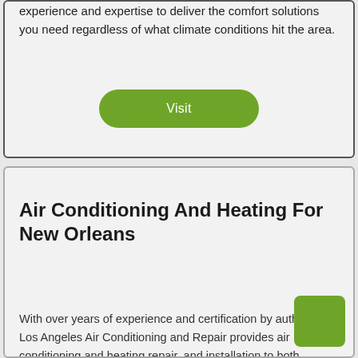experience and expertise to deliver the comfort solutions you need regardless of what climate conditions hit the area.
Visit
Air Conditioning And Heating For New Orleans
With over years of experience and certification by authorities, Los Angeles Air Conditioning and Repair provides air conditioning and heating repair, and installation to both residential and commercial clients in the Los Angeles, CA area. The company